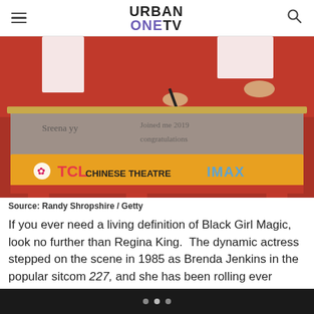URBAN ONE TV
[Figure (photo): Photo of a person signing their name in cement at the TCL Chinese Theatre IMAX on a red carpet. The gold and orange TCL Chinese Theatre IMAX sign is visible at the bottom of the slab.]
Source: Randy Shropshire / Getty
If you ever need a living definition of Black Girl Magic, look no further than Regina King.  The dynamic actress stepped on the scene in 1985 as Brenda Jenkins in the popular sitcom 227, and she has been rolling ever since. She...